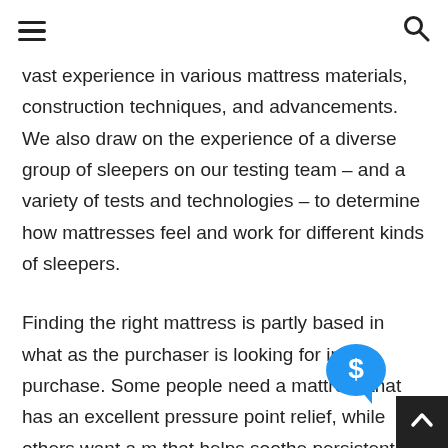≡  🔍
vast experience in various mattress materials, construction techniques, and advancements. We also draw on the experience of a diverse group of sleepers on our testing team – and a variety of tests and technologies – to determine how mattresses feel and work for different kinds of sleepers.
Finding the right mattress is partly based in what as the purchaser is looking for in the purchase. Some people need a mattress that has an excellent pressure point relief, while others want a m that helps soothe persistent back pain. There one size that will fit all. Therefore, our choices show